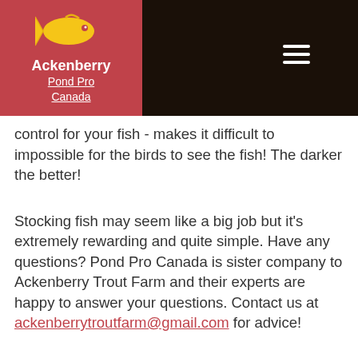[Figure (logo): Ackenberry Pond Pro Canada logo: yellow fish icon on red background with white bold text 'Ackenberry' and underlined text 'Pond Pro Canada']
ngs –

ey!

edator
control for your fish - makes it difficult to impossible for the birds to see the fish! The darker the better!
Stocking fish may seem like a big job but it's extremely rewarding and quite simple. Have any questions? Pond Pro Canada is sister company to Ackenberry Trout Farm and their experts are happy to answer your questions. Contact us at ackenberrytroutfarm@gmail.com for advice!